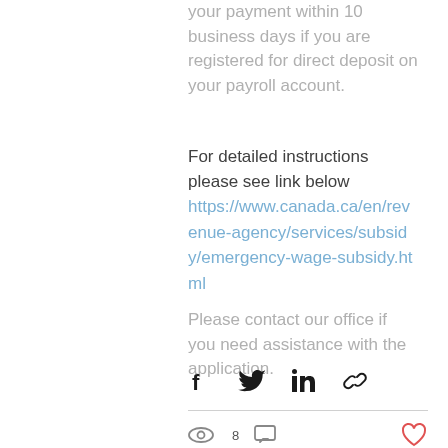your payment within 10 business days if you are registered for direct deposit on your payroll account.
For detailed instructions please see link below
https://www.canada.ca/en/revenue-agency/services/subsidy/emergency-wage-subsidy.html
Please contact our office if you need assistance with the application.
[Figure (infographic): Social share icons: Facebook, Twitter, LinkedIn, and link/copy icon]